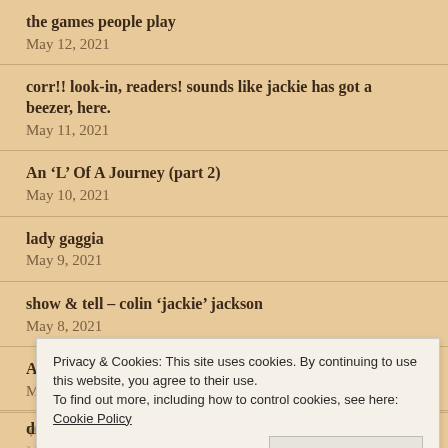the games people play
May 12, 2021
corr!! look-in, readers! sounds like jackie has got a beezer, here.
May 11, 2021
An ‘L’ Of A Journey (part 2)
May 10, 2021
lady gaggia
May 9, 2021
show & tell – colin ‘jackie’ jackson
May 8, 2021
A Little Knowledge Is A Dangerous Fang
May 7, 2021
Privacy & Cookies: This site uses cookies. By continuing to use this website, you agree to their use.
To find out more, including how to control cookies, see here: Cookie Policy
drama queen